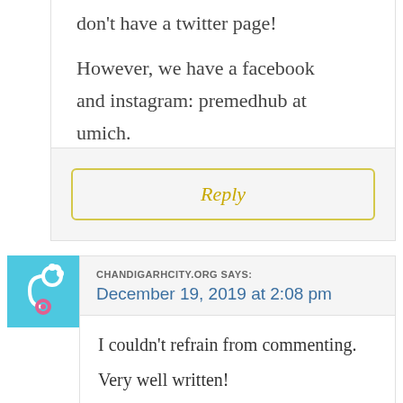don't have a twitter page!

However, we have a facebook and instagram: premedhub at umich.
Reply
CHANDIGARHCITY.ORG SAYS:
December 19, 2019 at 2:08 pm
I couldn't refrain from commenting.

Very well written!